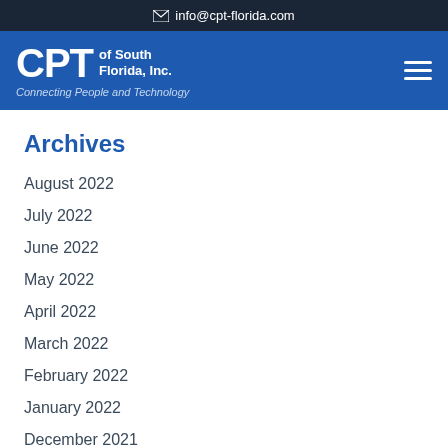info@cpt-florida.com
[Figure (logo): CPT of South Florida, Inc. logo with tagline 'Connecting People and Technology' on blue navigation bar with hamburger menu]
Archives
August 2022
July 2022
June 2022
May 2022
April 2022
March 2022
February 2022
January 2022
December 2021
November 2021
October 2021